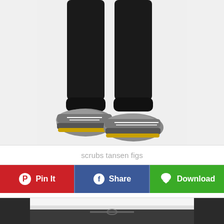[Figure (photo): Lower half of a person wearing black jogger sweatpants with ribbed cuffs and gray/white athletic sneakers with yellow accents, on a white background.]
scrubs tansen figs
Pin It
Share
Download
[Figure (photo): Person wearing a white top and dark gray/black drawstring shorts or scrub pants, cropped view of torso and upper legs.]